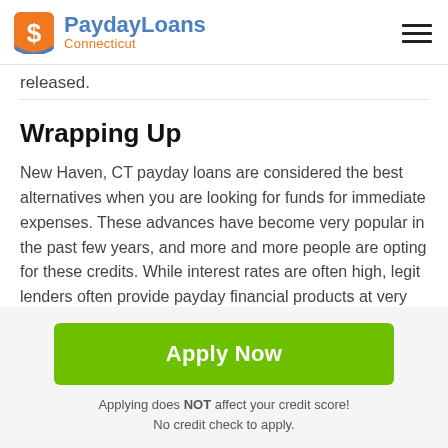PaydayLoans Connecticut
released.
Wrapping Up
New Haven, CT payday loans are considered the best alternatives when you are looking for funds for immediate expenses. These advances have become very popular in the past few years, and more and more people are opting for these credits. While interest rates are often high, legit lenders often provide payday financial products at very
[Figure (other): Green Apply Now button]
Applying does NOT affect your credit score!
No credit check to apply.